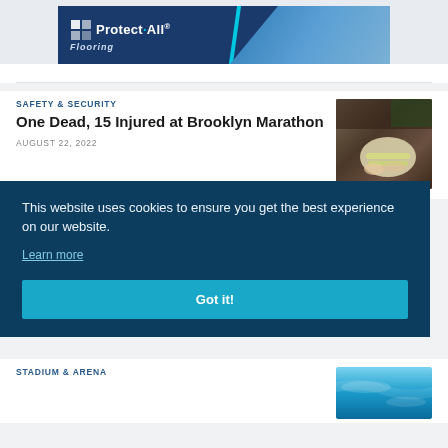[Figure (photo): Protect-All Flooring advertisement banner with logo on dark blue background]
SAFETY & SECURITY
One Dead, 15 Injured at Brooklyn Marathon
AUGUST 22, 2022
[Figure (photo): Person tying running shoe laces on red track surface]
This website uses cookies to ensure you get the best experience on our website.
Learn more
Got it!
STADIUM & ARENA
[Figure (photo): Blue water/pool background image]